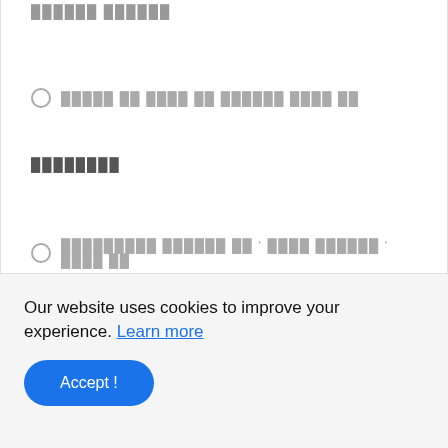██████ ██████
○ █████ ██ ████ ██ ██████ ████ ██
████████
○ █████████ ██████ ██ ' ████ ██████ ' ████ ██
████████ ████████
Our website uses cookies to improve your experience. Learn more
Accept !